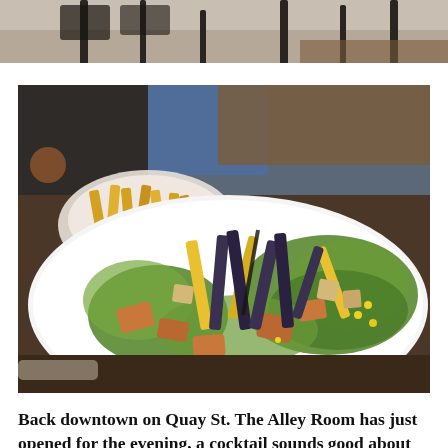[Figure (photo): Top portion of a restaurant interior photo showing chairs, tables and a wooden bar surface, partially cropped at top of page.]
[Figure (photo): A large white oval bowl filled with a salad topped with grilled chicken pieces, yellow and blue/purple tortilla strips, romaine lettuce, corn, and croutons. A bowl of french fries is visible in the background. The setting appears to be a restaurant with a dark wooden bar surface.]
Back downtown on Quay St. The Alley Room has just opened for the evening, a cocktail sounds good about